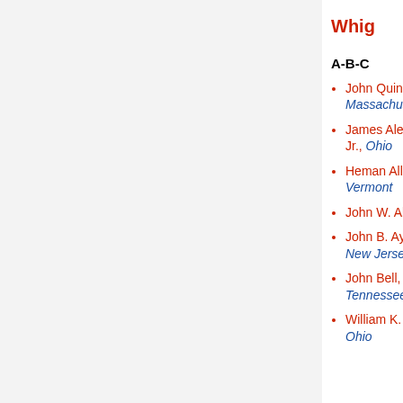Whig
A-B-C
John Quincy Adams, Massachusetts
James Alexander, Jr., Ohio
Heman Allen, Vermont
John W. Allen, Ohio
John B. Aycrigg, New Jersey
John Bell, Tennessee
William K. Bond, Ohio
G-H-I
Rice Garland, Louisiana
Joshua R. Giddings, Ohio
Patrick G. Goode, Ohio
James Graham, North Carolina
William Graham, Indiana
William J. Graves, Kentucky
George J. Grennell, Jr.,
P